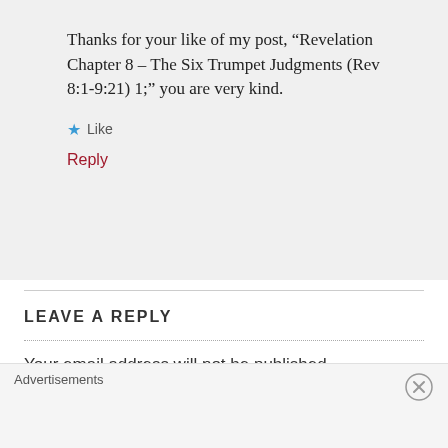Thanks for your like of my post, “Revelation Chapter 8 – The Six Trumpet Judgments (Rev 8:1-9:21) 1;” you are very kind.
★ Like
Reply
LEAVE A REPLY
Your email address will not be published.
Advertisements